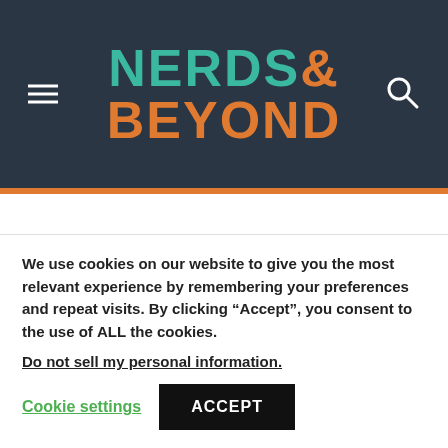NERDS& BEYOND
The chat starts off normal enough, until Garry unknowingly uses a dog filter. The call inevitably
We use cookies on our website to give you the most relevant experience by remembering your preferences and repeat visits. By clicking “Accept”, you consent to the use of ALL the cookies.
Do not sell my personal information.
Cookie settings   ACCEPT